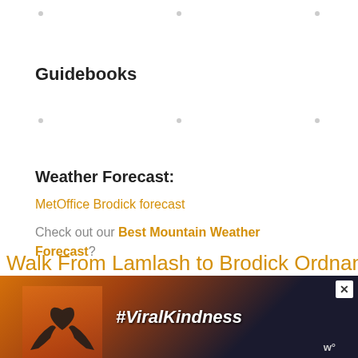Guidebooks
Weather Forecast:
MetOffice Brodick forecast
Check out our Best Mountain Weather Forecast?
Walk From Lamlash to Brodick Ordnance
[Figure (photo): Advertisement banner showing #ViralKindness with silhouette of hands forming a heart shape against a sunset sky]